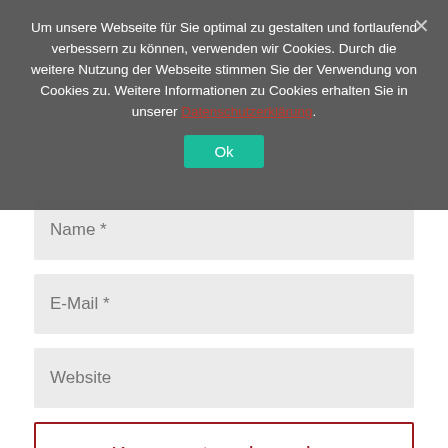Um unsere Webseite für Sie optimal zu gestalten und fortlaufend verbessern zu können, verwenden wir Cookies. Durch die weitere Nutzung der Webseite stimmen Sie der Verwendung von Cookies zu. Weitere Informationen zu Cookies erhalten Sie in unserer Datenschutzerklärung.
[Figure (screenshot): Cookie consent modal overlay with dark grey background, white text, red link 'Datenschutzerklärung', teal 'Ok' button, and a close X button]
Name *
E-Mail *
Website
Kommentar absenden